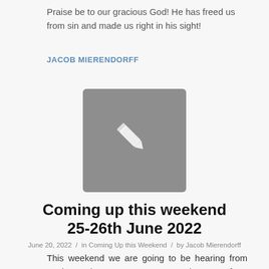Praise be to our gracious God! He has freed us from sin and made us right in his sight!
JACOB MIERENDORFF
[Figure (illustration): Gray square placeholder image with a white pencil/edit icon in the center]
Coming up this weekend 25-26th June 2022
June 20, 2022 / in Coming Up this Weekend / by Jacob Mierendorff
This weekend we are going to be hearing from God's word as Trevor Lucas preaches to us from Hebrews 12.